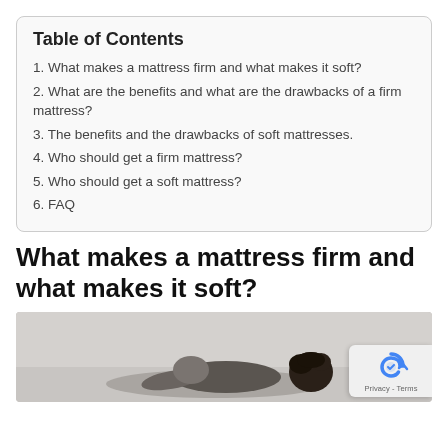Table of Contents
1. What makes a mattress firm and what makes it soft?
2. What are the benefits and what are the drawbacks of a firm mattress?
3. The benefits and the drawbacks of soft mattresses.
4. Who should get a firm mattress?
5. Who should get a soft mattress?
6. FAQ
What makes a mattress firm and what makes it soft?
[Figure (photo): Person lying on a mattress, viewed from above, with dark curly hair visible. Background is light gray/beige.]